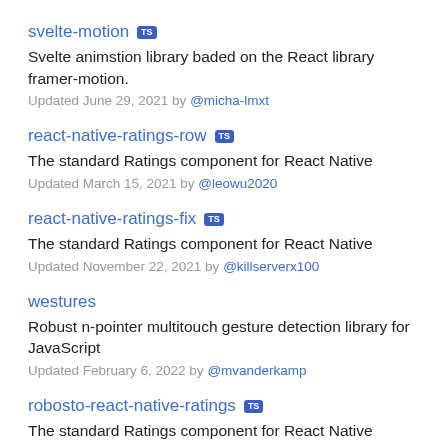svelte-motion TS
Svelte animstion library baded on the React library framer-motion.
Updated June 29, 2021 by @micha-lmxt
react-native-ratings-row TS
The standard Ratings component for React Native
Updated March 15, 2021 by @leowu2020
react-native-ratings-fix TS
The standard Ratings component for React Native
Updated November 22, 2021 by @killserverx100
westures
Robust n-pointer multitouch gesture detection library for JavaScript
Updated February 6, 2022 by @mvanderkamp
robosto-react-native-ratings TS
The standard Ratings component for React Native